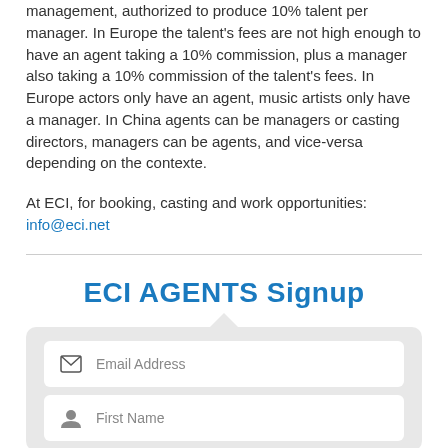management, authorized to produce 10% talent per manager. In Europe the talent's fees are not high enough to have an agent taking a 10% commission, plus a manager also taking a 10% commission of the talent's fees. In Europe actors only have an agent, music artists only have a manager. In China agents can be managers or casting directors, managers can be agents, and vice-versa depending on the contexte.
At ECI, for booking, casting and work opportunities: info@eci.net
ECI AGENTS Signup
[Figure (screenshot): Web signup form with email address and first name input fields on a gray rounded background with upward pointing arrow indicator]